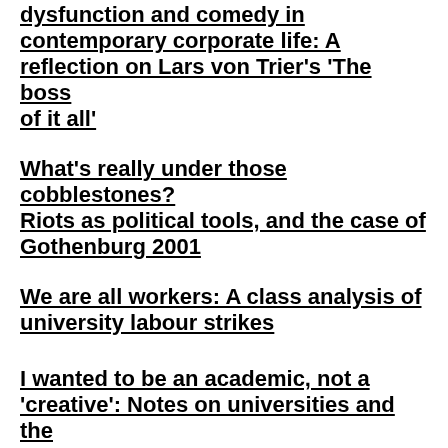Dysfunction and comedy in contemporary corporate life: A reflection on Lars von Trier's 'The boss of it all'
What's really under those cobblestones? Riots as political tools, and the case of Gothenburg 2001
We are all workers: A class analysis of university labour strikes
I wanted to be an academic, not a 'creative': Notes on universities and the new capitalism